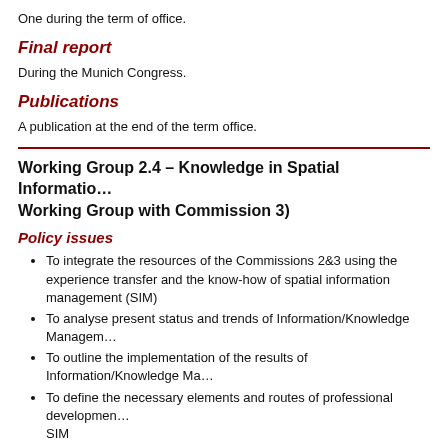One during the term of office.
Final report
During the Munich Congress.
Publications
A publication at the end of the term office.
Working Group 2.4 – Knowledge in Spatial Information Working Group with Commission 3)
Policy issues
To integrate the resources of the Commissions 2&3 using the experience transfer and the know-how of spatial information management (SIM)
To analyse present status and trends of Information/Knowledge Management
To outline the implementation of the results of Information/Knowledge Management
To define the necessary elements and routes of professional development SIM